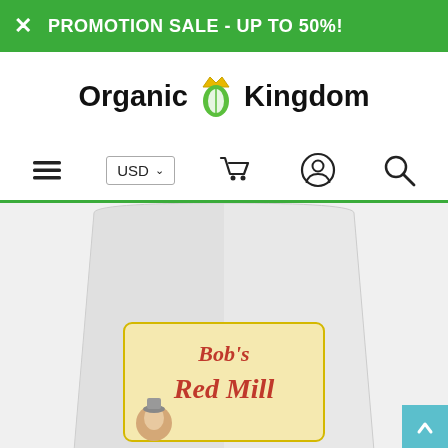PROMOTION SALE - UP TO 50%!
Organic Kingdom
[Figure (screenshot): Navigation bar with hamburger menu, USD currency selector, shopping cart icon, user account icon, and search icon]
[Figure (photo): Bob's Red Mill product bag, bottom portion showing logo with red and yellow branding]